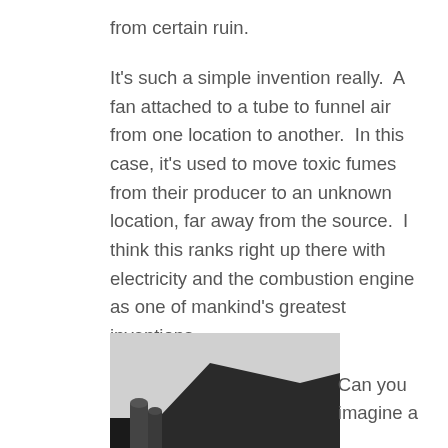from certain ruin.
It's such a simple invention really.  A fan attached to a tube to funnel air from one location to another.  In this case, it's used to move toxic fumes from their producer to an unknown location, far away from the source.  I think this ranks right up there with electricity and the combustion engine as one of mankind's greatest inventions.
[Figure (photo): Partial photograph of a dark rooftop structure or mechanical equipment, appearing in the bottom-left area of the page, cropped at the page boundary.]
Can you imagine a